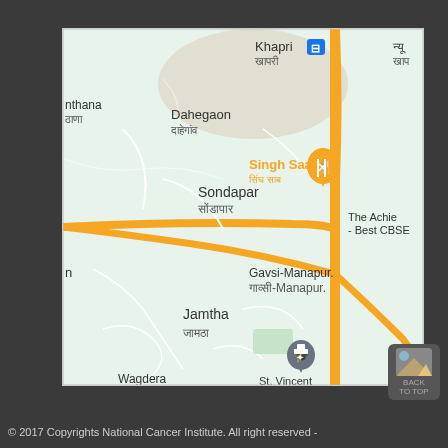[Figure (map): Google Maps screenshot showing an area near Nagpur, India, with localities including Khapri (खापरी) with a metro station icon, Dahegaon (दाहेगांव), Sondapar (सोंडापार), Gavsi-Manapur (गाव्सी-मानापुर), Jamtha (जामठा), Singh Saab (सिंघ साब) restaurant pin, The Achievers - Best CBSE label, St. Vincent school icon. Roads shown in orange/yellow. Map background is light green and beige.]
© 2017 Copyrights National Cancer Institute. All right reserved -